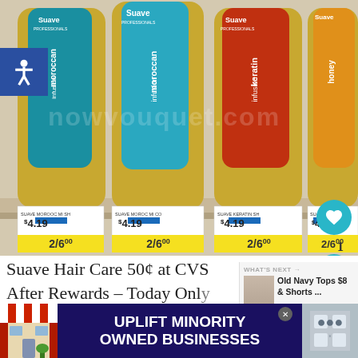[Figure (photo): Shelf photo of four Suave Professionals hair care bottles (Moroccan Infusion x2, Keratin Infusion, Honey Infusion) with price tags showing $4.19 each and sale tags showing 2/$6.00]
Suave Hair Care 50¢ at CVS After Rewards – Today Only
WHAT'S NEXT → Old Navy Tops $8 & Shorts ...
[Figure (infographic): Advertisement banner: UPLIFT MINORITY OWNED BUSINESSES with store illustration and close button]